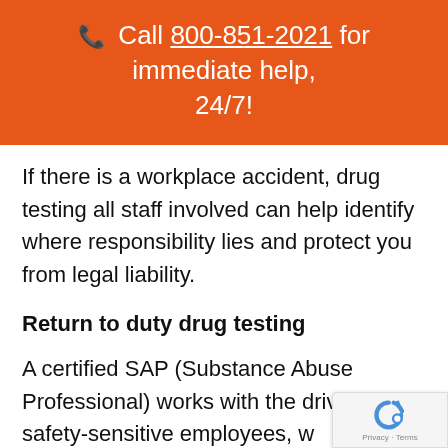📞 Call 800-851-2021 for immediate help, 24/7!
If there is a workplace accident, drug testing all staff involved can help identify where responsibility lies and protect you from legal liability.
Return to duty drug testing
A certified SAP (Substance Abuse Professional) works with the driver, other safety-sensitive employees, w…